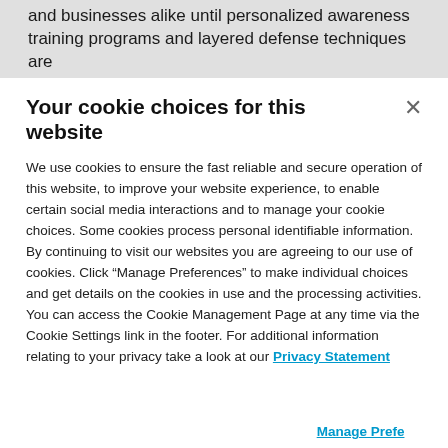and businesses alike until personalized awareness training programs and layered defense techniques are
Your cookie choices for this website
We use cookies to ensure the fast reliable and secure operation of this website, to improve your website experience, to enable certain social media interactions and to manage your cookie choices. Some cookies process personal identifiable information. By continuing to visit our websites you are agreeing to our use of cookies. Click “Manage Preferences” to make individual choices and get details on the cookies in use and the processing activities. You can access the Cookie Management Page at any time via the Cookie Settings link in the footer. For additional information relating to your privacy take a look at our Privacy Statement
Manage Preferences